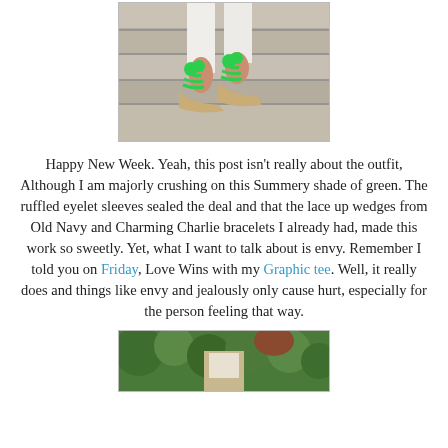[Figure (photo): Close-up photo of a person's feet wearing green lace-up wedge sandals on stone steps]
Happy New Week. Yeah, this post isn't really about the outfit, Although I am majorly crushing on this Summery shade of green. The ruffled eyelet sleeves sealed the deal and that the lace up wedges from Old Navy and Charming Charlie bracelets I already had, made this work so sweetly. Yet, what I want to talk about is envy. Remember I told you on Friday, Love Wins with my Graphic tee. Well, it really does and things like envy and jealously only cause hurt, especially for the person feeling that way.
[Figure (photo): Photo of a person in an outfit outdoors with green foliage in background]